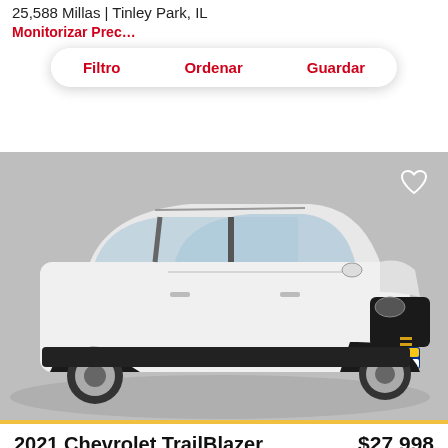25,588 Millas | Tinley Park, IL
Monitorizar Prec
Filtro   Ordenar   Guardar
[Figure (photo): White 2021 Chevrolet TrailBlazer SUV photographed on a grey circular platform from a front 3/4 angle. CarMax logo plate visible on bumper. Heart/favorite icon in top right.]
2021 Chevrolet TrailBlazer
$27,998